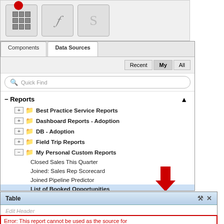[Figure (screenshot): Toolbar with table, function, and S-type buttons at the top, partially cropped]
[Figure (screenshot): Data Sources panel showing a tree of Reports including Best Practice Service Reports, Dashboard Reports - Adoption, DB - Adoption, Field Trip Reports, My Personal Custom Reports (expanded) with sub-items: Closed Sales This Quarter, Joined: Sales Rep Scorecard, Joined Pipeline Predictor, List of Booked Opportunities (highlighted/selected), Matrix: Fiscal Period / Owner. A red arrow points to List of Booked Opportunities. Tabs: Components, Data Sources. Filter: Recent, My, All.]
[Figure (screenshot): Table component panel showing Edit Header field, Edit Title field, and an error bar reading: Error: This report cannot be used as the source for this component. If it is a summary or matrix report]